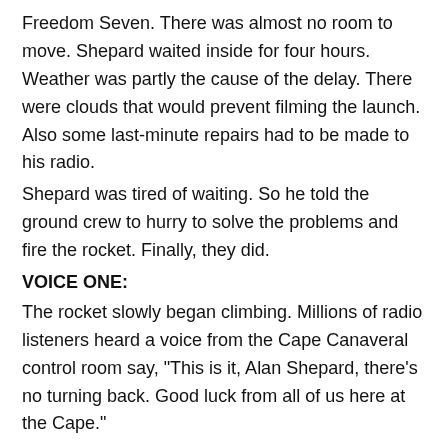Freedom Seven. There was almost no room to move. Shepard waited inside for four hours. Weather was partly the cause of the delay. There were clouds that would prevent filming the launch. Also some last-minute repairs had to be made to his radio.
Shepard was tired of waiting. So he told the ground crew to hurry to solve the problems and fire the rocket. Finally, they did.
VOICE ONE:
The rocket slowly began climbing. Millions of radio listeners heard a voice from the Cape Canaveral control room say, "This is it, Alan Shepard, there's no turning back. Good luck from all of us here at the Cape."
The rocket rose higher and higher. For five minutes, Alan Shepard felt the weightlessness of space. He felt himself floating. Freedom Seven flew one-hundred-eighty-five kilometers high. Then it re-entered the atmosphere and the spacecraft slowed. The fifteen-minute flight ended with a soft splash into the ocean about five-hundred